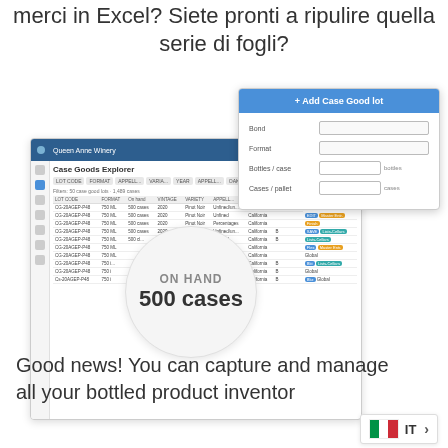merci in Excel? Siete pronti a ripulire quella serie di fogli?
[Figure (screenshot): Software UI screenshot showing Case Goods Explorer inventory management application with a data table of wine inventory items, alongside an 'Add Case Good lot' form panel with fields for Bond, Format, Bottles/case, and Cases/pallet. A circular callout shows 'ON HAND 500 cases'.]
Good news! You can capture and manage all your bottled product inventor
IT